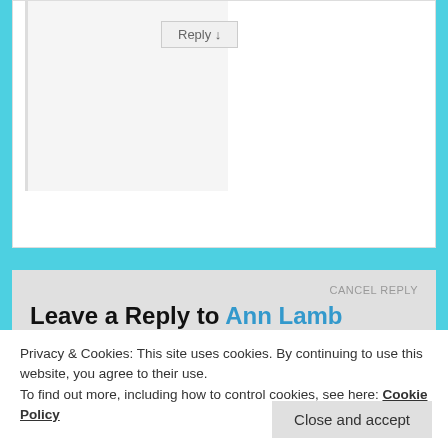Reply ↓
Leave a Reply to Ann Lamb
CANCEL REPLY
Enter your comment here...
Privacy & Cookies: This site uses cookies. By continuing to use this website, you agree to their use.
To find out more, including how to control cookies, see here: Cookie Policy
Close and accept